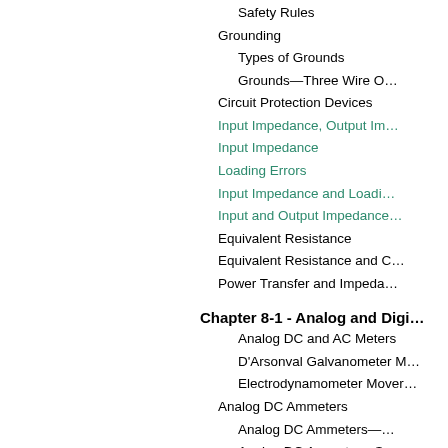Safety Rules
Grounding
Types of Grounds
Grounds—Three Wire O…
Circuit Protection Devices
Input Impedance, Output Im…
Input Impedance
Loading Errors
Input Impedance and Loadi…
Input and Output Impedance…
Equivalent Resistance
Equivalent Resistance and C…
Power Transfer and Impeda…
Chapter 8-1 - Analog and Digi…
Analog DC and AC Meters
D'Arsonval Galvanometer M…
Electrodynamometer Mover…
Analog DC Ammeters
Analog DC Ammeters—…
Analog DC Ammeter—S…
Analog DC Ammeter—S…
Analog DC Ammeter—…
Analog DC Voltmeter—Mult…